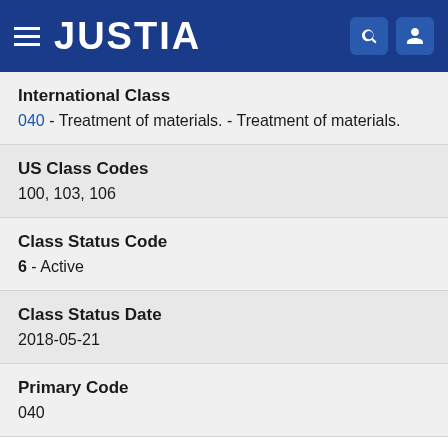JUSTIA
International Class
040 - Treatment of materials. - Treatment of materials.
US Class Codes
100, 103, 106
Class Status Code
6 - Active
Class Status Date
2018-05-21
Primary Code
040
Current Trademark Owners